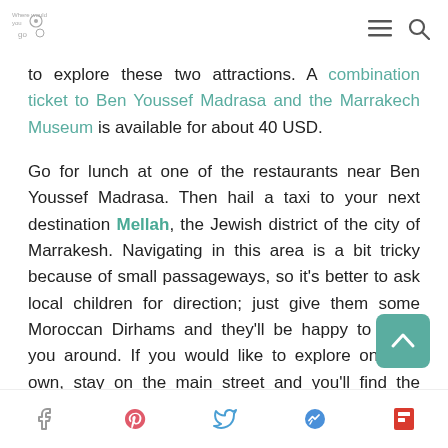Where would you go (logo) — navigation icons
to explore these two attractions. A combination ticket to Ben Youssef Madrasa and the Marrakech Museum is available for about 40 USD.

Go for lunch at one of the restaurants near Ben Youssef Madrasa. Then hail a taxi to your next destination Mellah, the Jewish district of the city of Marrakesh. Navigating in this area is a bit tricky because of small passageways, so it's better to ask local children for direction; just give them some Moroccan Dirhams and they'll be happy to show you around. If you would like to explore on your own, stay on the main street and you'll find the Jewish
Social share icons: Facebook, Pinterest, Twitter, Messenger, Flipboard